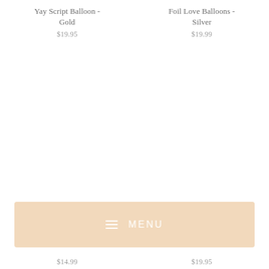Yay Script Balloon - Gold
$19.95
Foil Love Balloons - Silver
$19.99
[Figure (other): Navigation menu bar with hamburger icon and MENU text on a light peach/tan background]
$14.99
$19.95